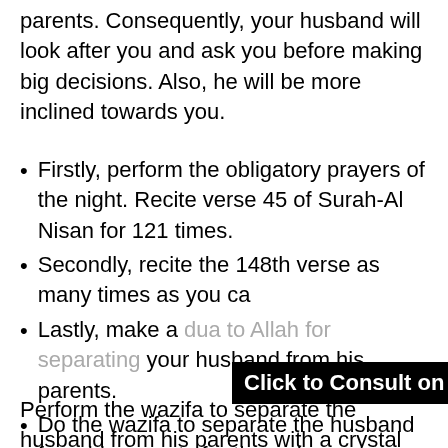parents. Consequently, your husband will look after you and ask you before making big decisions. Also, he will be more inclined towards you.
Firstly, perform the obligatory prayers of the night. Recite verse 45 of Surah-Al Nisan for 121 times.
Secondly, recite the 148th verse as many times as you can.
Lastly, make a dua to Allah for separating your husband from his parents.
Do the wazifa to separate the husband from his parents for three days consecutively.
Inshallah, your husband will go away from his parents.
[Figure (other): Black banner overlay reading 'Click to Consult on Whatsapp']
Perform the wazifa to separate the husband from his parents with a crystal clear heart. Also, keep an